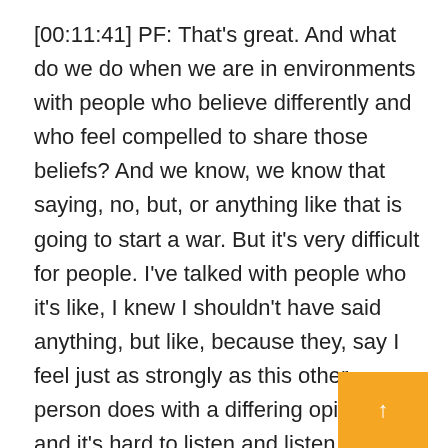[00:11:41] PF: That's great. And what do we do when we are in environments with people who believe differently and who feel compelled to share those beliefs? And we know, we know that saying, no, but, or anything like that is going to start a war. But it's very difficult for people. I've talked with people who it's like, I knew I shouldn't have said anything, but like, because they, say I feel just as strongly as this other person does with a differing opinion, and it's hard to listen and listen and listen and not share your opinion. So, how do you take care of all this? Because that's where our problems are coming from.
↑